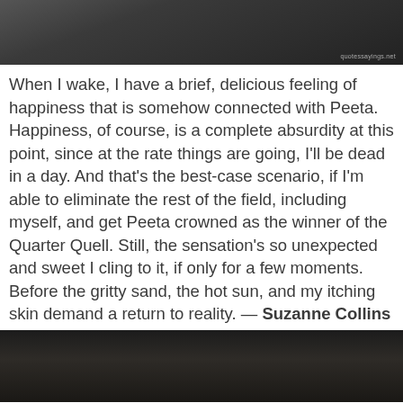[Figure (photo): Dark grayscale image at top of page, with watermark 'quotessayings.net' in bottom right corner]
When I wake, I have a brief, delicious feeling of happiness that is somehow connected with Peeta. Happiness, of course, is a complete absurdity at this point, since at the rate things are going, I'll be dead in a day. And that's the best-case scenario, if I'm able to eliminate the rest of the field, including myself, and get Peeta crowned as the winner of the Quarter Quell. Still, the sensation's so unexpected and sweet I cling to it, if only for a few moments. Before the gritty sand, the hot sun, and my itching skin demand a return to reality. — Suzanne Collins
[Figure (photo): Dark grayscale image at bottom of page, darker tones with subtle texture]